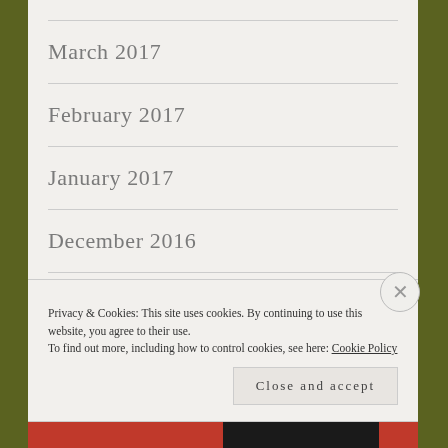March 2017
February 2017
January 2017
December 2016
November 2016
October 2016
Privacy & Cookies: This site uses cookies. By continuing to use this website, you agree to their use. To find out more, including how to control cookies, see here: Cookie Policy
Close and accept